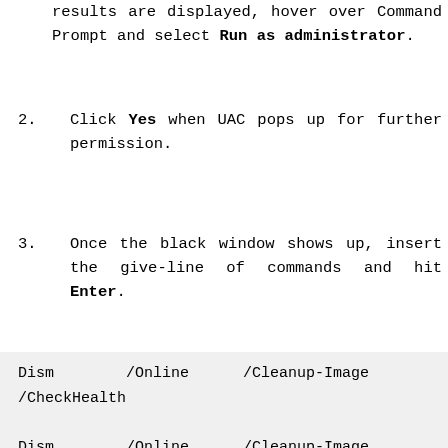results are displayed, hover over Command Prompt and select Run as administrator.
2. Click Yes when UAC pops up for further permission.
3. Once the black window shows up, insert the give-line of commands and hit Enter.
Dism /Online /Cleanup-Image /CheckHealth
Dism /Online /Cleanup-Image